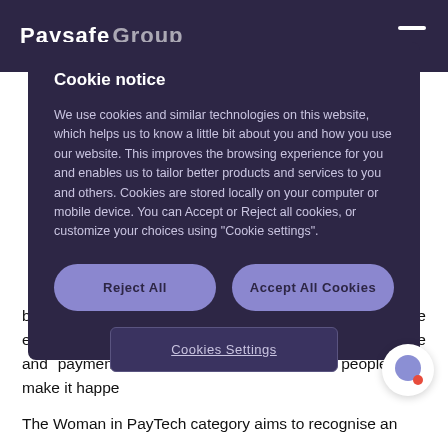Paysafe Group
Cookie notice
We use cookies and similar technologies on this website, which helps us to know a little bit about you and how you use our website. This improves the browsing experience for you and enables us to tailor better products and services to you and others. Cookies are stored locally on your computer or mobile device. You can Accept or Reject all cookies, or customize your choices using "Cookie settings".
Reject All
Accept All Cookies
Cookies Settings
been established by Fintech Futures to recognise excellence and innovation in the use of IT in the finance and payment industry worldwide, and the people who make it happe
The Woman in PayTech category aims to recognise an